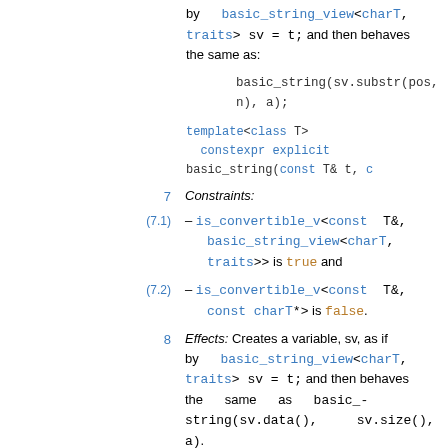by basic_string_view<charT, traits> sv = t; and then behaves the same as:
basic_string(sv.substr(pos, n), a);
template<class T>
  constexpr explicit basic_string(const T& t, c
7   Constraints:
(7.1)  — is_convertible_v<const T&, basic_string_view<charT, traits>> is true and
(7.2)  — is_convertible_v<const T&, const charT*> is false.
8   Effects: Creates a variable, sv, as if by basic_string_view<charT, traits> sv = t; and then behaves the same as basic_string(sv.data(), sv.size(), a).